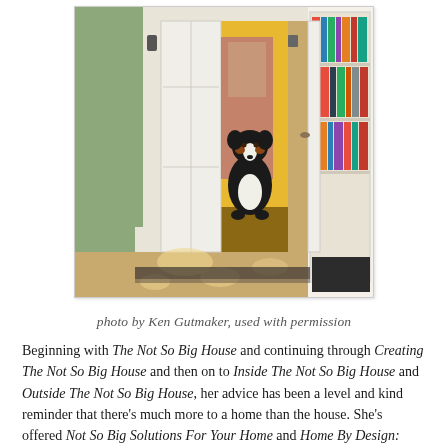[Figure (photo): Interior hallway photo showing a Bernese mountain dog sitting in a bright yellow-walled corridor beyond an open white French door with glass panes. A bookshelf is visible on the right side. Hardwood floors with dappled sunlight throughout.]
photo by Ken Gutmaker, used with permission
Beginning with The Not So Big House and continuing through Creating The Not So Big House and then on to Inside The Not So Big House and Outside The Not So Big House, her advice has been a level and kind reminder that there's much more to a home than the house. She's offered Not So Big Solutions For Your Home and Home By Design: Transforming Your House Into A Home. Then realizing that